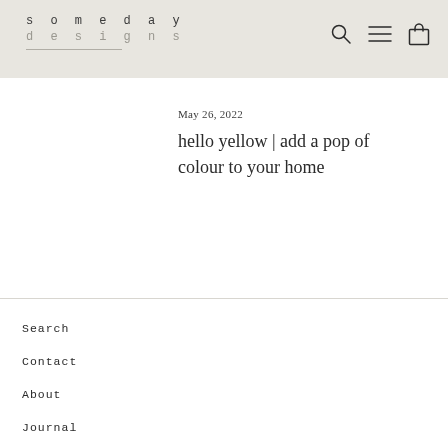someday designs
May 26, 2022
hello yellow | add a pop of colour to your home
Search
Contact
About
Journal